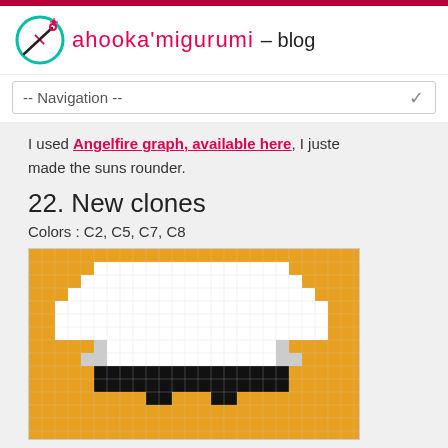ahooka'migurumi – blog
-- Navigation --
I used Angelfire graph, available here, I juste made the suns rounder.
22. New clones
Colors : C2, C5, C7, C8
[Figure (other): Pixel art grid showing a character (Clone Wars/Star Wars clone trooper) with orange/yellow background, white helmet area, gray body, and black visor, rendered as a grid pattern]